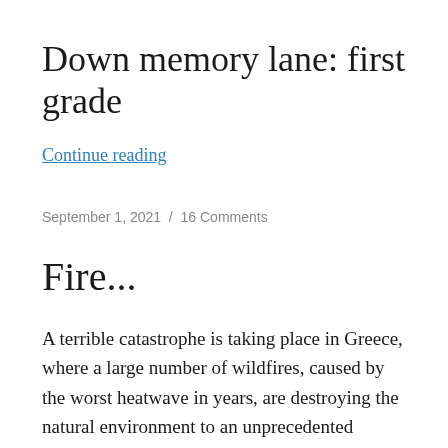Down memory lane: first grade
Continue reading
September 1, 2021  /  16 Comments
Fire...
A terrible catastrophe is taking place in Greece, where a large number of wildfires, caused by the worst heatwave in years, are destroying the natural environment to an unprecedented